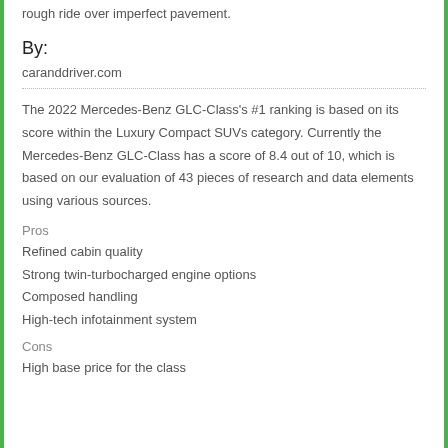rough ride over imperfect pavement.
By:
caranddriver.com
The 2022 Mercedes-Benz GLC-Class's #1 ranking is based on its score within the Luxury Compact SUVs category. Currently the Mercedes-Benz GLC-Class has a score of 8.4 out of 10, which is based on our evaluation of 43 pieces of research and data elements using various sources.
Pros
Refined cabin quality
Strong twin-turbocharged engine options
Composed handling
High-tech infotainment system
Cons
High base price for the class